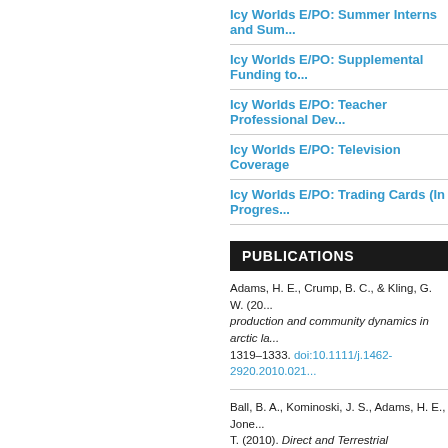Icy Worlds E/PO: Summer Interns and Sum...
Icy Worlds E/PO: Supplemental Funding to...
Icy Worlds E/PO: Teacher Professional Dev...
Icy Worlds E/PO: Television Coverage
Icy Worlds E/PO: Trading Cards (In Progres...
PUBLICATIONS
Adams, H. E., Crump, B. C., & Kling, G. W. (20... production and community dynamics in arctic la... 1319–1333. doi:10.1111/j.1462-2920.2010.021...
Ball, B. A., Kominoski, J. S., Adams, H. E., Jone... T. (2010). Direct and Terrestrial Vegetation-me... Ecosystem Processes. BioScience, 60(8), 590–...
Bhartia, R., Salas, E. C., Hug, W. F., Reid, R. D... (2010). Label-Free Bacterial Imaging with Deep... Environmental Microbiology, 76(21), 7231–7237...
Choukroun, M., Grasset, O., Tobie, G., & Sotin,... under pressure: Influence on outgassing proces... doi:10.1016/j.icarus.2009.08.011